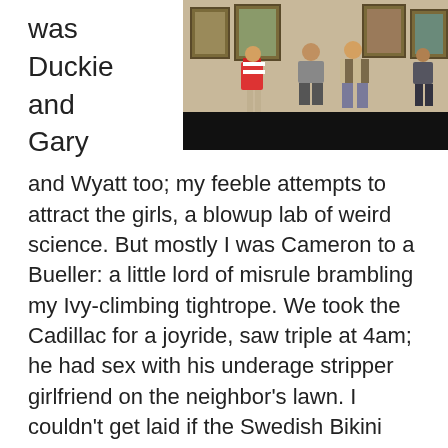was
Duckie
and
Gary
[Figure (photo): Photo of people standing in an art gallery or museum, with paintings on the wall behind them. A black bar appears at the bottom of the image.]
and Wyatt too; my feeble attempts to attract the girls, a blowup lab of weird science. But mostly I was Cameron to a Bueller: a little lord of misrule brambling my Ivy-climbing tightrope. We took the Cadillac for a joyride, saw triple at 4am; he had sex with his underage stripper girlfriend on the neighbor’s lawn. I couldn’t get laid if the Swedish Bikini Team parachuted into my Y-fronts.
Not that I really wanted that, regardless of my